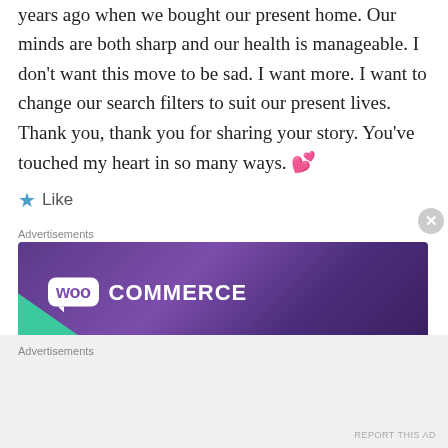years ago when we bought our present home. Our minds are both sharp and our health is manageable. I don't want this move to be sad. I want more. I want to change our search filters to suit our present lives. Thank you, thank you for sharing your story. You've touched my heart in so many ways. 💕
★ Like
Advertisements
[Figure (logo): WooCommerce advertisement banner with purple gradient background, teal corner accent, and WooCommerce logo in white text with speech bubble]
Advertisements